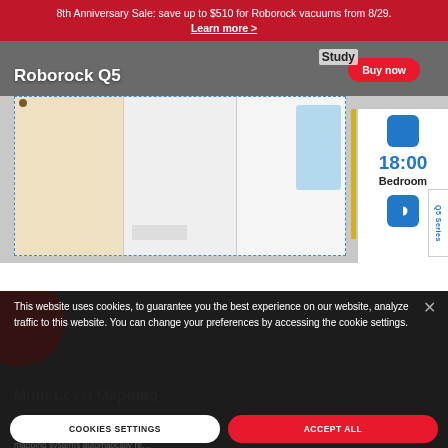8th Anniversary Sale: save up to $510 for Roborock vacuums from 8/29. Learn more >
[Figure (screenshot): Roborock Q5 product page screenshot showing a floor plan map with room zones, a time display showing 18:00 and Bedroom label, a blue Study icon, and a Q5 Series side tab. A red Buy now button is shown in the top right.]
This website uses cookies, to guarantee you the best experience on our website, analyze traffic to this website. You can change your preferences by accessing the cookie settings.
COOKIES SETTINGS
ACCEPT ALL
Multi-Level Mapping
mapping systems automatically re…